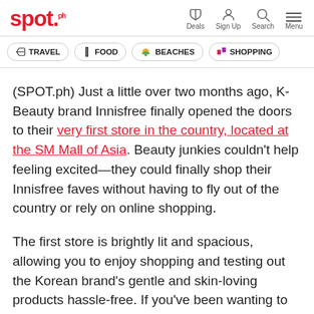spot.ph — Deals, Sign Up, Search, Menu
TRAVEL
FOOD
BEACHES
SHOPPING
(SPOT.ph) Just a little over two months ago, K-Beauty brand Innisfree finally opened the doors to their very first store in the country, located at the SM Mall of Asia. Beauty junkies couldn't help feeling excited—they could finally shop their Innisfree faves without having to fly out of the country or rely on online shopping.
The first store is brightly lit and spacious, allowing you to enjoy shopping and testing out the Korean brand's gentle and skin-loving products hassle-free. If you've been wanting to visit the store but haven't gotten the